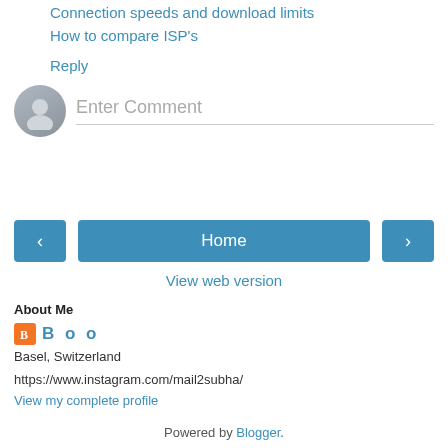Connection speeds and download limits
How to compare ISP's
Reply
[Figure (other): Comment input area with avatar placeholder circle and 'Enter Comment' text field with bottom border]
[Figure (other): Navigation buttons: left arrow button, Home button, right arrow button]
View web version
About Me
B o o
Basel, Switzerland
https://www.instagram.com/mail2subha/
View my complete profile
Powered by Blogger.